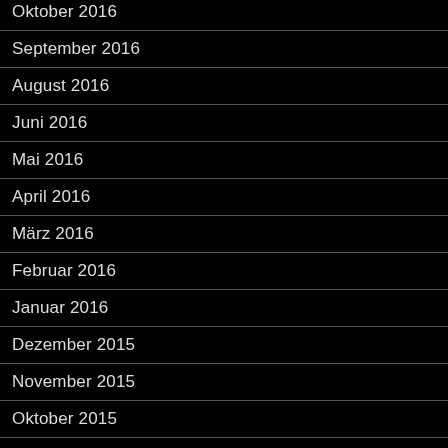Oktober 2016
September 2016
August 2016
Juni 2016
Mai 2016
April 2016
März 2016
Februar 2016
Januar 2016
Dezember 2015
November 2015
Oktober 2015
September 2015